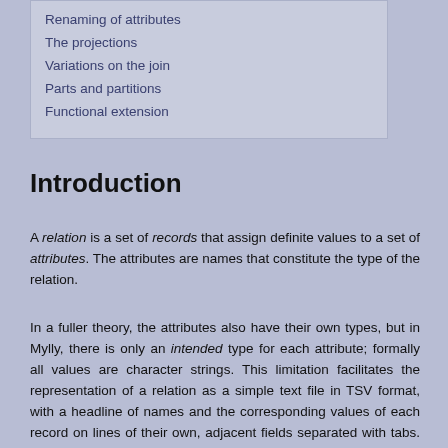Renaming of attributes
The projections
Variations on the join
Parts and partitions
Functional extension
Introduction
A relation is a set of records that assign definite values to a set of attributes. The attributes are names that constitute the type of the relation.
In a fuller theory, the attributes also have their own types, but in Mylly, there is only an intended type for each attribute; formally all values are character strings. This limitation facilitates the representation of a relation as a simple text file in TSV format, with a headline of names and the corresponding values of each record on lines of their own, adjacent fields separated with tabs. (Link to the IANA RFC here.)